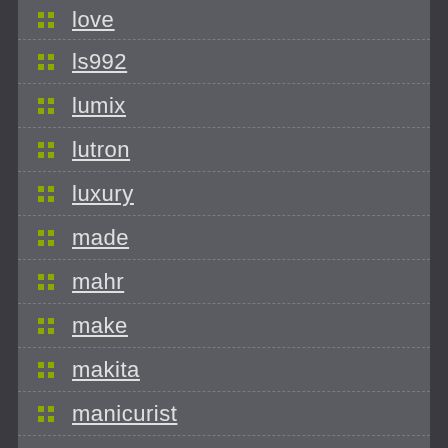love
ls992
lumix
lutron
luxury
made
mahr
make
makita
manicurist
manifested